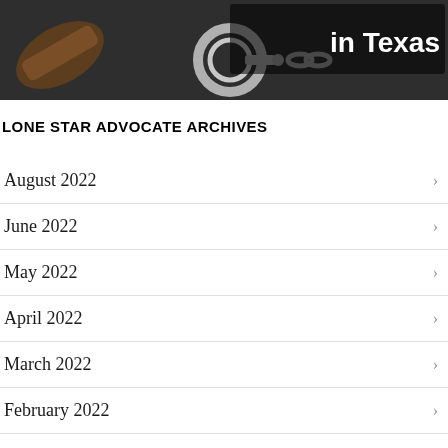[Figure (photo): Photo of handcuffs and a gavel on a dark surface, with white bold text overlay reading 'in Texas']
LONE STAR ADVOCATE ARCHIVES
August 2022
June 2022
May 2022
April 2022
March 2022
February 2022
January 2022